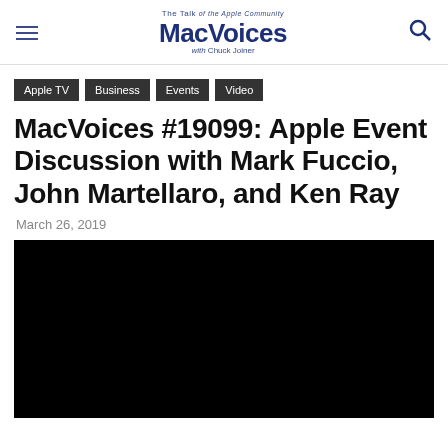The Talk of the Apple Community MacVoices with Chuck Joiner
Apple TV
Business
Events
Video
MacVoices #19099: Apple Event Discussion with Mark Fuccio, John Martellaro, and Ken Ray
March 26, 2019
[Figure (screenshot): Black video player embed area]